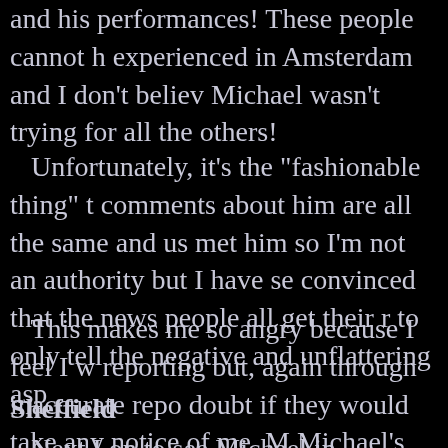and his performances! These people cannot have experienced in Amsterdam and I don't believe Michael wasn't trying for all the others!
Unfortunately, it's the "fashionable thing" to comments about him are all the same and usu met him so I'm not an authority but I have see convinced that the news people all get their re to only tell the negative and unflattering aspe
This makes me so angry because I feel I wa reporting but, again through inaccurate repor doubt if they would take any notice of me. Mi Michael's fans are the most loyal and friendly
Sheffield
Next I on to see Michael in Sheffield